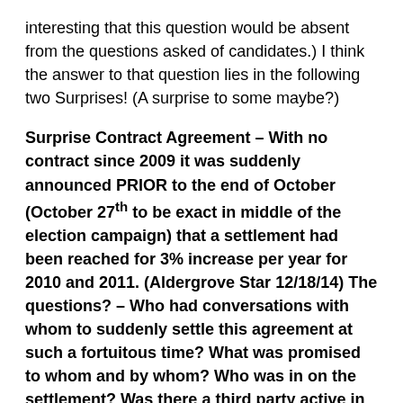interesting that this question would be absent from the questions asked of candidates.) I think the answer to that question lies in the following two Surprises! (A surprise to some maybe?)
Surprise Contract Agreement – With no contract since 2009 it was suddenly announced PRIOR to the end of October (October 27th to be exact in middle of the election campaign) that a settlement had been reached for 3% increase per year for 2010 and 2011. (Aldergrove Star 12/18/14) The questions? – Who had conversations with whom to suddenly settle this agreement at such a fortuitous time? What was promised to whom and by whom? Who was in on the settlement? Was there a third party active in getting this deal done with a condition of public support the goal by either side? Question – Does this not equate